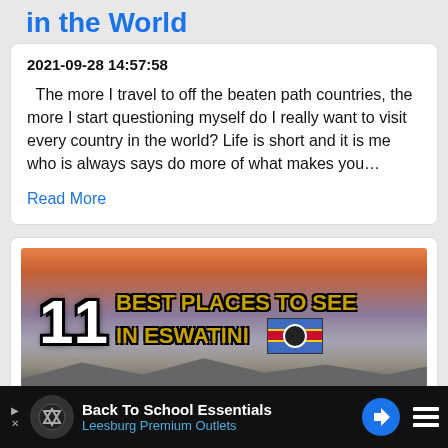in the World
2021-09-28 14:57:58
The more I travel to off the beaten path countries, the more I start questioning myself do I really want to visit every country in the world? Life is short and it is me who is always says do more of what makes you…
Read More
[Figure (photo): 11 Best Places to See in Eswatini — promotional image with large text overlay over a sunset/landscape background with Eswatini flag]
Back To School Essentials Leesburg Premium Outlets